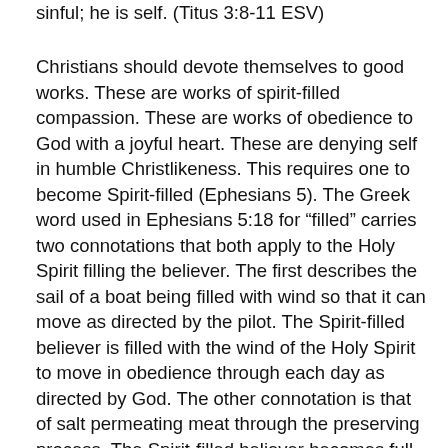sinful; he is self. (Titus 3:8-11 ESV)
Christians should devote themselves to good works. These are works of spirit-filled compassion. These are works of obedience to God with a joyful heart. These are denying self in humble Christlikeness. This requires one to become Spirit-filled (Ephesians 5). The Greek word used in Ephesians 5:18 for “filled” carries two connotations that both apply to the Holy Spirit filling the believer. The first describes the sail of a boat being filled with wind so that it can move as directed by the pilot. The Spirit-filled believer is filled with the wind of the Holy Spirit to move in obedience through each day as directed by God. The other connotation is that of salt permeating meat through the preserving process. The Spirit-filled believer becomes full of the Holy Spirit as they live self-denied and obedient lives full of joy and humility. This is the Spirit-filled walk